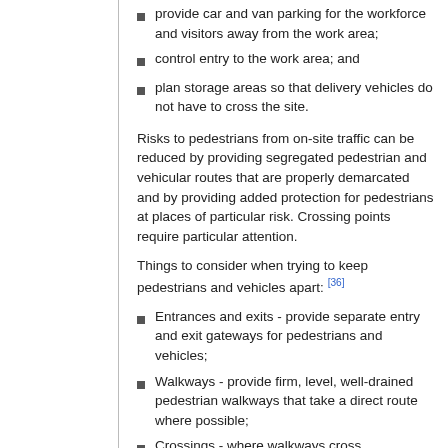provide car and van parking for the workforce and visitors away from the work area;
control entry to the work area; and
plan storage areas so that delivery vehicles do not have to cross the site.
Risks to pedestrians from on-site traffic can be reduced by providing segregated pedestrian and vehicular routes that are properly demarcated and by providing added protection for pedestrians at places of particular risk. Crossing points require particular attention.
Things to consider when trying to keep pedestrians and vehicles apart: [36]
Entrances and exits - provide separate entry and exit gateways for pedestrians and vehicles;
Walkways - provide firm, level, well-drained pedestrian walkways that take a direct route where possible;
Crossings - where walkways cross